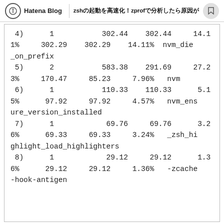Hatena Blog | zsh（日本語テキスト）zprof（テキスト）3（テキスト）
4)      1           302.44    302.44     14.1
1%     302.29    302.29    14.11%  nvm_die
_on_prefix
 5)      2           583.38    291.69     27.2
3%     170.47     85.23     7.96%   nvm
 6)      1           110.33    110.33      5.1
5%      97.92     97.92     4.57%   nvm_ens
ure_version_installed
 7)      1            69.76     69.76      3.2
6%      69.33     69.33     3.24%   _zsh_hi
ghlight_load_highlighters
 8)      1            29.12     29.12      1.3
6%      29.12     29.12     1.36%   -zcache
-hook-antigen